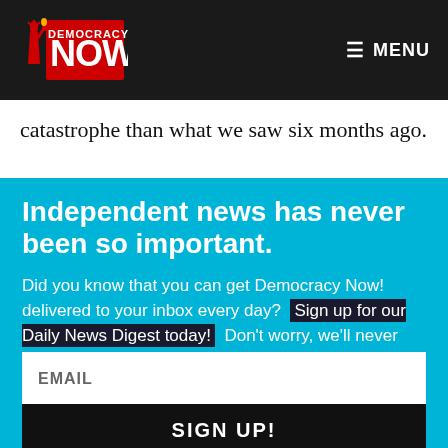Democracy Now! — MENU
catastrophe than what we saw six months ago.
Independent news has never been so important.
Did you know that you can get Democracy Now! delivered to your inbox every day? Sign up for our Daily News Digest today! Don't worry, we'll never share or sell your information.
EMAIL
SIGN UP!